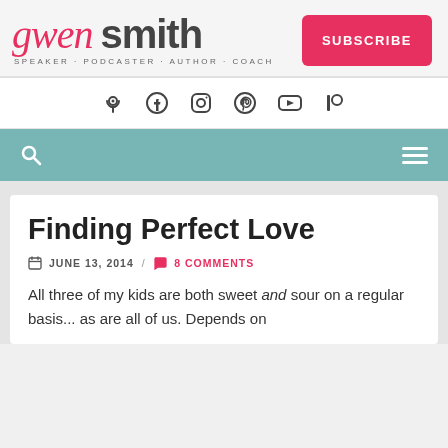[Figure (logo): Gwen Smith logo — 'gwen' in pink cursive, 'smith' in bold dark grey, tagline SPEAKER · PODCASTER · AUTHOR · COACH below]
[Figure (other): SUBSCRIBE button — pink/red rounded rectangle with white bold uppercase text]
[Figure (other): Social media icons bar: podcast, Facebook, Instagram, Pinterest, YouTube, Patreon]
[Figure (other): Teal navigation bar with search icon on left and hamburger menu icon on right]
Finding Perfect Love
JUNE 13, 2014 / 8 COMMENTS
All three of my kids are both sweet and sour on a regular basis... as are all of us. Depends on